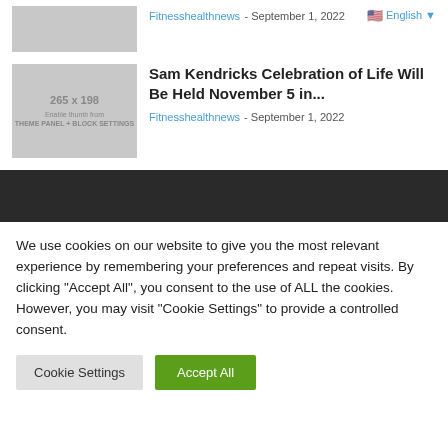[Figure (screenshot): Gray placeholder thumbnail for article image, small, top row]
Fitnesshealthnews - September 1, 2022
English ▼
[Figure (screenshot): Gray placeholder thumbnail 265 x 198, Enable thumb from THEME PANEL + BLOCK SETTINGS]
Sam Kendricks Celebration of Life Will Be Held November 5 in...
Fitnesshealthnews - September 1, 2022
[Figure (other): Dark horizontal bar / footer area]
We use cookies on our website to give you the most relevant experience by remembering your preferences and repeat visits. By clicking "Accept All", you consent to the use of ALL the cookies. However, you may visit "Cookie Settings" to provide a controlled consent.
Cookie Settings
Accept All